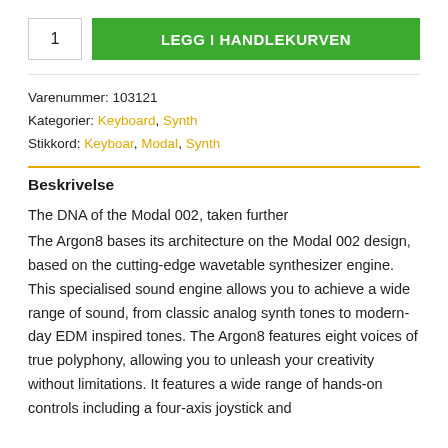[Figure (other): Quantity input box showing '1' with a green 'LEGG I HANDLEKURVEN' button]
Varenummer: 103121
Kategorier: Keyboard, Synth
Stikkord: Keyboar, Modal, Synth
Beskrivelse
The DNA of the Modal 002, taken further
The Argon8 bases its architecture on the Modal 002 design, based on the cutting-edge wavetable synthesizer engine. This specialised sound engine allows you to achieve a wide range of sound, from classic analog synth tones to modern-day EDM inspired tones. The Argon8 features eight voices of true polyphony, allowing you to unleash your creativity without limitations. It features a wide range of hands-on controls including a four-axis joystick and